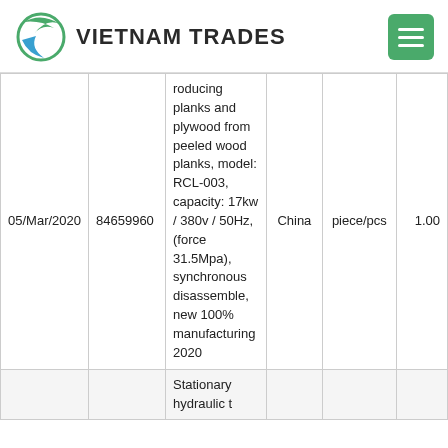VIETNAM TRADES
| Date | Code | Description | Country | Unit | Qty |
| --- | --- | --- | --- | --- | --- |
| 05/Mar/2020 | 84659960 | roducing planks and plywood from peeled wood planks, model: RCL-003, capacity: 17kw / 380v / 50Hz, (force 31.5Mpa), synchronous disassemble, new 100% manufacturing 2020 | China | piece/pcs | 1.00 |
|  |  | Stationary hydraulic t |  |  |  |